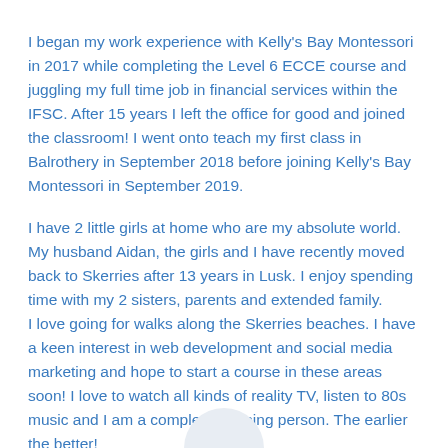I began my work experience with Kelly's Bay Montessori in 2017 while completing the Level 6 ECCE course and juggling my full time job in financial services within the IFSC. After 15 years I left the office for good and joined the classroom! I went onto teach my first class in Balrothery in September 2018 before joining Kelly's Bay Montessori in September 2019.
I have 2 little girls at home who are my absolute world. My husband Aidan, the girls and I have recently moved back to Skerries after 13 years in Lusk. I enjoy spending time with my 2 sisters, parents and extended family.
I love going for walks along the Skerries beaches. I have a keen interest in web development and social media marketing and hope to start a course in these areas soon! I love to watch all kinds of reality TV, listen to 80s music and I am a complete morning person. The earlier the better!